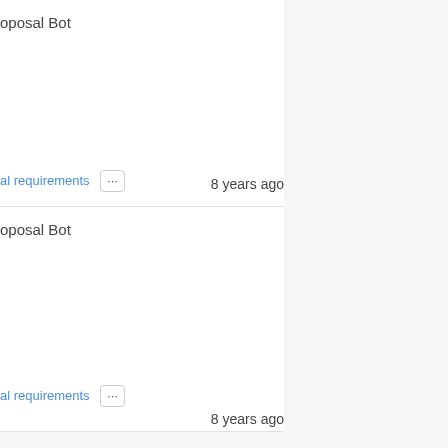oposal Bot
al requirements ... 8 years ago
oposal Bot
al requirements ... 8 years ago